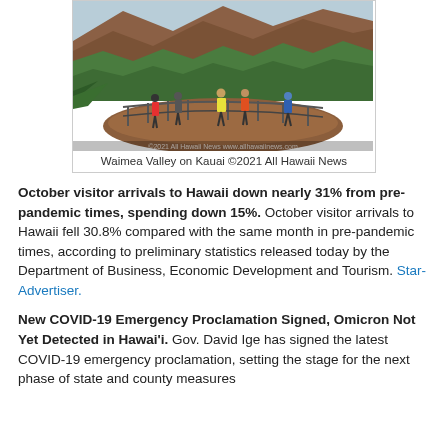[Figure (photo): Tourists standing on a circular overlook platform with metal railings, overlooking Waimea Valley canyon on Kauai, Hawaii. Red/brown canyon walls and green vegetation visible.]
Waimea Valley on Kauai ©2021 All Hawaii News
October visitor arrivals to Hawaii down nearly 31% from pre-pandemic times, spending down 15%. October visitor arrivals to Hawaii fell 30.8% compared with the same month in pre-pandemic times, according to preliminary statistics released today by the Department of Business, Economic Development and Tourism. Star-Advertiser.
New COVID-19 Emergency Proclamation Signed, Omicron Not Yet Detected in Hawai'i. Gov. David Ige has signed the latest COVID-19 emergency proclamation, setting the stage for the next phase of state and county measures